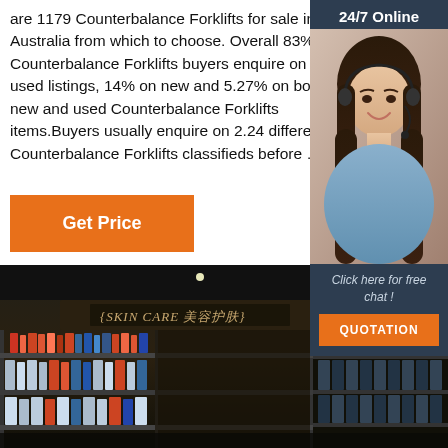are 1179 Counterbalance Forklifts for sale in Australia from which to choose. Overall 83% of Counterbalance Forklifts buyers enquire on only used listings, 14% on new and 5.27% on both new and used Counterbalance Forklifts items.Buyers usually enquire on 2.24 different Counterbalance Forklifts classifieds before …
[Figure (photo): Customer support representative — woman with headset smiling, with '24/7 Online' header and 'Click here for free chat!' text plus orange QUOTATION button, dark navy sidebar background]
[Figure (photo): Interior of a retail skin care store/shop with product shelves, sign reading 'SKIN CARE' with Chinese characters, dark ambient lighting, products on shelves]